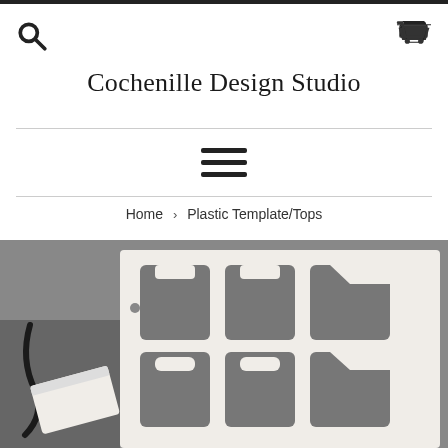Cochenille Design Studio
[Figure (other): Hamburger/navigation menu icon (three horizontal lines)]
Home › Plastic Template/Tops
[Figure (photo): Photo of a white plastic template sheet with cut-out garment top shapes arranged in a grid, with a small tag and cord on the left side, on a gray background.]